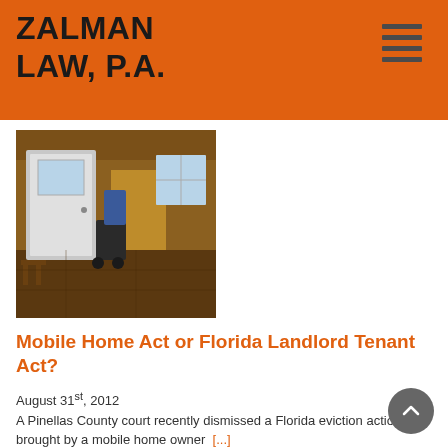ZALMAN LAW, P.A.
[Figure (photo): Interior photo of a mobile home or small dwelling showing an open door, stroller/items, and rustic wooden interior]
Mobile Home Act or Florida Landlord Tenant Act?
August 31st, 2012
A Pinellas County court recently dismissed a Florida eviction action brought by a mobile home owner  [...]